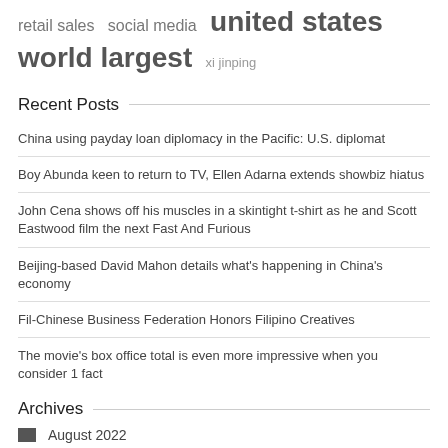retail sales  social media  united states  world largest  xi jinping
Recent Posts
China using payday loan diplomacy in the Pacific: U.S. diplomat
Boy Abunda keen to return to TV, Ellen Adarna extends showbiz hiatus
John Cena shows off his muscles in a skintight t-shirt as he and Scott Eastwood film the next Fast And Furious
Beijing-based David Mahon details what's happening in China's economy
Fil-Chinese Business Federation Honors Filipino Creatives
The movie's box office total is even more impressive when you consider 1 fact
Archives
August 2022